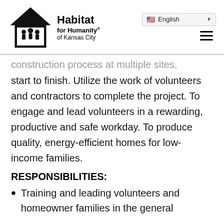[Figure (logo): Habitat for Humanity of Kansas City logo with house icon and three figures]
construction process at multiple sites, start to finish. Utilize the work of volunteers and contractors to complete the project. To engage and lead volunteers in a rewarding, productive and safe workday. To produce quality, energy-efficient homes for low-income families.
RESPONSIBILITIES:
Training and leading volunteers and homeowner families in the general